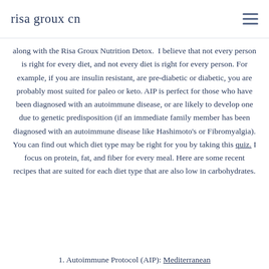risa groux cn
along with the Risa Groux Nutrition Detox.  I believe that not every person is right for every diet, and not every diet is right for every person. For example, if you are insulin resistant, are pre-diabetic or diabetic, you are probably most suited for paleo or keto. AIP is perfect for those who have been diagnosed with an autoimmune disease, or are likely to develop one due to genetic predisposition (if an immediate family member has been diagnosed with an autoimmune disease like Hashimoto's or Fibromyalgia). You can find out which diet type may be right for you by taking this quiz. I focus on protein, fat, and fiber for every meal. Here are some recent recipes that are suited for each diet type that are also low in carbohydrates.
1. Autoimmune Protocol (AIP): Mediterranean